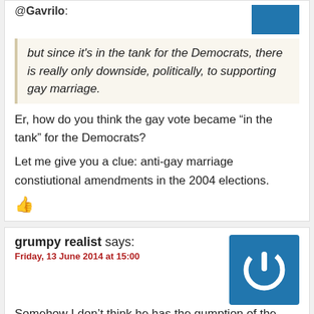@Gavrilo:
but since it's in the tank for the Democrats, there is really only downside, politically, to supporting gay marriage.
Er, how do you think the gay vote became “in the tank” for the Democrats?
Let me give you a clue: anti-gay marriage constiutional amendments in the 2004 elections.
grumpy realist says:
Friday, 13 June 2014 at 15:00
Somehow I don’t think he has the gumption of the King of France:
“Paris is worth a mass.”